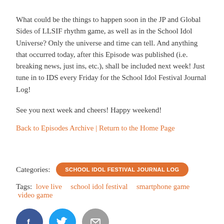What could be the things to happen soon in the JP and Global Sides of LLSIF rhythm game, as well as in the School Idol Universe? Only the universe and time can tell. And anything that occurred today, after this Episode was published (i.e. breaking news, just ins, etc.), shall be included next week! Just tune in to IDS every Friday for the School Idol Festival Journal Log!
See you next week and cheers! Happy weekend!
Back to Episodes Archive | Return to the Home Page
Categories:  SCHOOL IDOL FESTIVAL JOURNAL LOG
Tags:  love live  school idol festival  smartphone game  video game